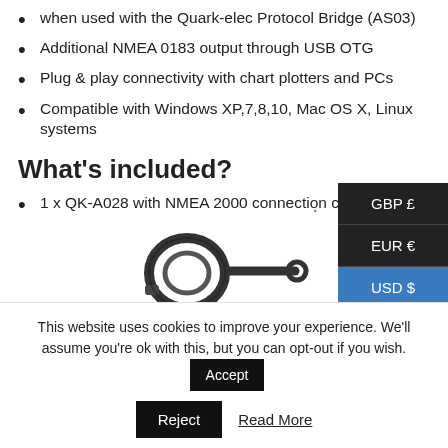when used with the Quark-elec Protocol Bridge (AS03)
Additional NMEA 0183 output through USB OTG
Plug & play connectivity with chart plotters and PCs
Compatible with Windows XP,7,8,10, Mac OS X, Linux systems
What's included?
1 x QK-A028 with NMEA 2000 connection cable
[Figure (photo): Black NMEA 2000 connection cables coiled and laid flat]
GBP £
EUR €
USD $
This website uses cookies to improve your experience. We'll assume you're ok with this, but you can opt-out if you wish.
Accept
Reject
Read More